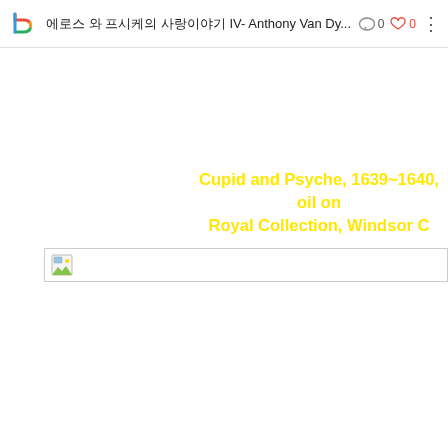에로스 와 프시케의 사랑이야기 IV- Anthony Van Dy... 0 0
Cupid and Psyche, 1639~1640, oil on Royal Collection, Windsor C
[Figure (photo): Broken/unloaded image placeholder with image icon]